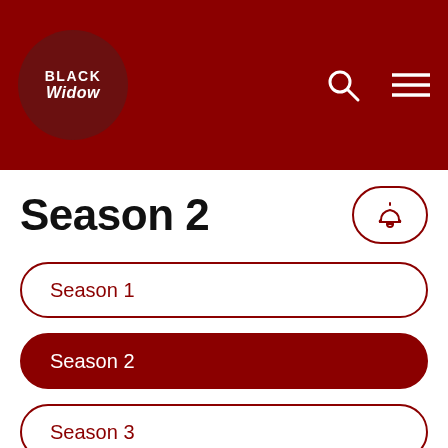Black Widow — App Header with logo, search icon, and menu icon
Season 2
Season 1
Season 2
Season 3
Season 4